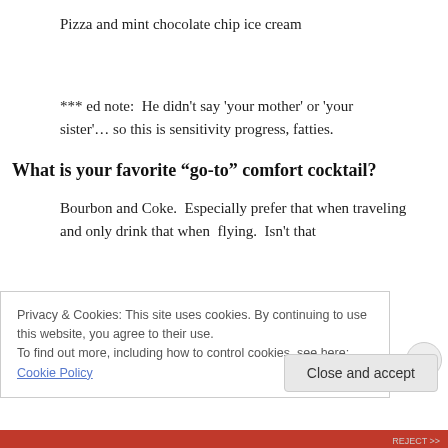Pizza and mint chocolate chip ice cream
*** ed note:  He didn't say 'your mother' or 'your sister'… so this is sensitivity progress, fatties.
What is your favorite “go-to” comfort cocktail?
Bourbon and Coke.  Especially prefer that when traveling and only drink that when  flying.  Isn't that
Privacy & Cookies: This site uses cookies. By continuing to use this website, you agree to their use.
To find out more, including how to control cookies, see here: Cookie Policy